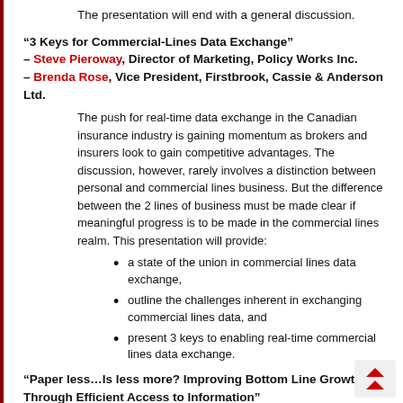The presentation will end with a general discussion.
"3 Keys for Commercial-Lines Data Exchange" – Steve Pieroway, Director of Marketing, Policy Works Inc. – Brenda Rose, Vice President, Firstbrook, Cassie & Anderson Ltd.
The push for real-time data exchange in the Canadian insurance industry is gaining momentum as brokers and insurers look to gain competitive advantages. The discussion, however, rarely involves a distinction between personal and commercial lines business. But the difference between the 2 lines of business must be made clear if meaningful progress is to be made in the commercial lines realm. This presentation will provide:
a state of the union in commercial lines data exchange,
outline the challenges inherent in exchanging commercial lines data, and
present 3 keys to enabling real-time commercial lines data exchange.
"Paper less…Is less more? Improving Bottom Line Growth Through Efficient Access to Information"